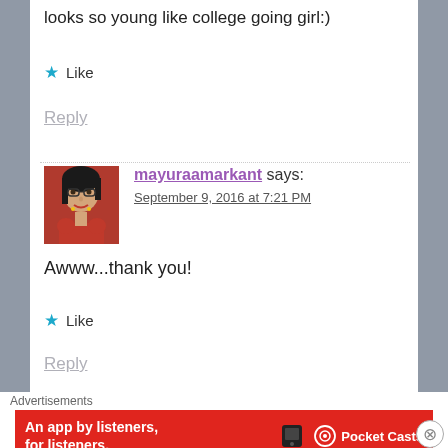looks so young like college going girl:)
★ Like
Reply
mayuraamarkant says: September 9, 2016 at 7:21 PM
[Figure (photo): Avatar photo of mayuraamarkant, a woman wearing glasses and a red outfit]
Awww...thank you!
★ Like
Reply
Advertisements
[Figure (infographic): Pocket Casts advertisement banner: An app by listeners, for listeners.]